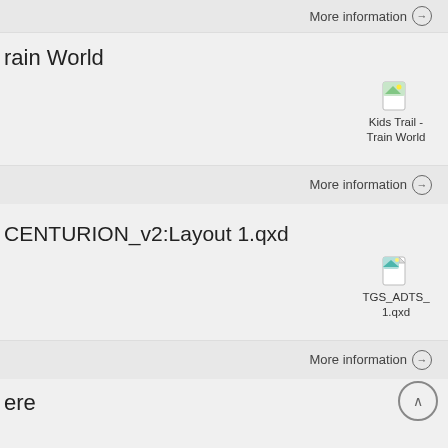More information →
rain World
[Figure (illustration): Kids Trail - Train World file icon (small image with landscape thumbnail)]
Kids Trail - Train World
More information →
CENTURION_v2:Layout 1.qxd
[Figure (illustration): TGS_ADTS_1.qxd file icon (small document icon with landscape thumbnail)]
TGS_ADTS_1.qxd
More information →
ere